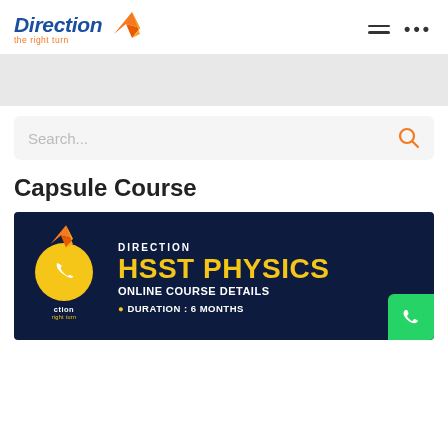[Figure (logo): Direction logo with swoosh bird icon and tagline 'the right turn']
[Figure (screenshot): Gray banner/advertisement area below header]
[Figure (other): Search bar with orange search icon]
Capsule Course
[Figure (infographic): Direction HSST Physics Online Course Details banner on dark navy background, with yellow circle phone icon, Direction logo overlay, and WhatsApp button. Text: DIRECTION, HSST PHYSICS, ONLINE COURSE DETAILS, DURATION : 6 MONTHS]